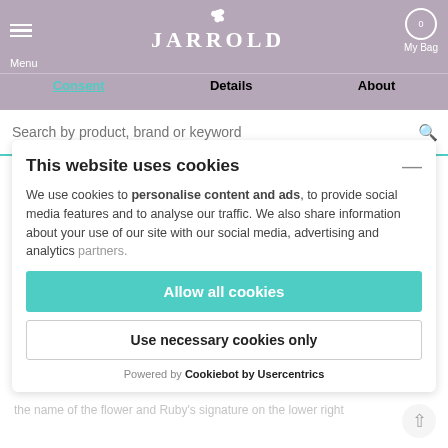JARROLD
Consent | Details | About
Search by product, brand or keyword
This website uses cookies
We use cookies to personalise content and ads, to provide social media features and to analyse our traffic. We also share information about your use of our site with our social media, advertising and analytics partners.
Allow all cookies
Use necessary cookies only
Powered by Cookiebot by Usercentrics
Picked, pressed, printed.

Ruby's grandparents garden is covered in these beautiful deep purple geraniums and she just couldn't resist pressing a few.

It was pressed using the traditional method of flower pressing and then digitalised to create this lovely and unique print. Unframed A4 Print. Printed on Premium quality matte photo paper with a lovely slightly off white background.

Please note, colours may vary slightly from online images. Made and printed in Norwich.Each print is hand signed with the name of the flower and Ruby's signature on the lower right